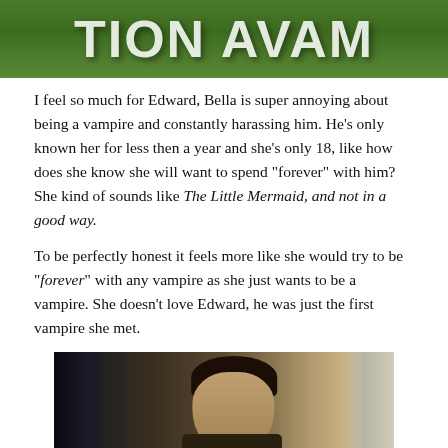[Figure (photo): Top portion of an image showing green grass/outdoor background with large white bold text partially visible, appearing to be part of a title/heading]
I feel so much for Edward, Bella is super annoying about being a vampire and constantly harassing him. He's only known her for less then a year and she's only 18, like how does she know she will want to spend “forever” with him? She kind of sounds like The Little Mermaid, and not in a good way.
To be perfectly honest it feels more like she would try to be “forever” with any vampire as she just wants to be a vampire. She doesn’t love Edward, he was just the first vampire she met.
[Figure (photo): Photo of a person with dark hair against a dark background with curtains/drapes visible]